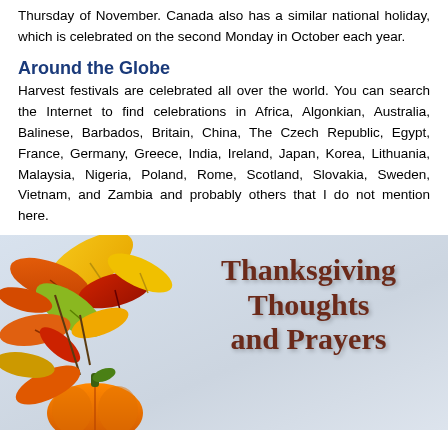Thursday of November. Canada also has a similar national holiday, which is celebrated on the second Monday in October each year.
Around the Globe
Harvest festivals are celebrated all over the world. You can search the Internet to find celebrations in Africa, Algonkian, Australia, Balinese, Barbados, Britain, China, The Czech Republic, Egypt, France, Germany, Greece, India, Ireland, Japan, Korea, Lithuania, Malaysia, Nigeria, Poland, Rome, Scotland, Slovakia, Sweden, Vietnam, and Zambia and probably others that I do not mention here.
[Figure (illustration): Decorative image with autumn leaves and a pumpkin on the left side, and text reading 'Thanksgiving Thoughts and Prayers' on a light blue-grey background.]